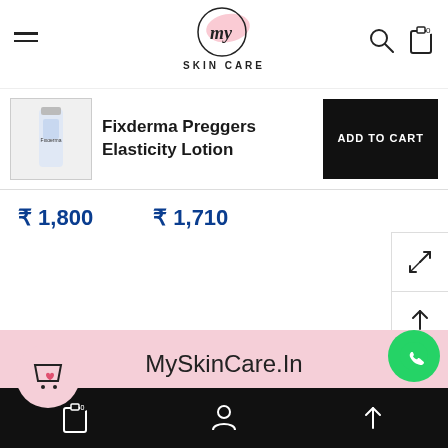[Figure (logo): My Skin Care logo — circular logo with 'my' in script font and pink brush stroke, with 'SKIN CARE' text below]
Fixderma Preggers Elasticity Lotion
ADD TO CART
₹ 1,800
₹ 1,710
MySkinCare.In
One Stop Online Wellness Clinic.